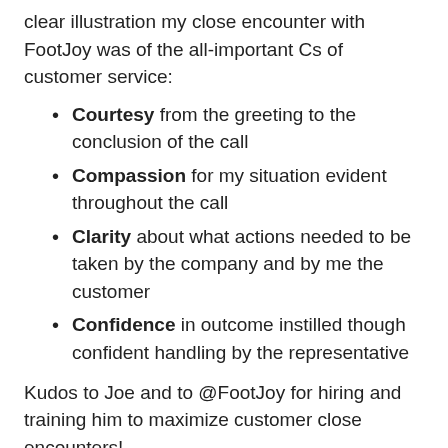clear illustration my close encounter with FootJoy was of the all-important Cs of customer service:
Courtesy from the greeting to the conclusion of the call
Compassion for my situation evident throughout the call
Clarity about what actions needed to be taken by the company and by me the customer
Confidence in outcome instilled though confident handling by the representative
Kudos to Joe and to @FootJoy for hiring and training him to maximize customer close encounters!
Is your call center using the 4 Cs of Customer Service in every close encounter? If not, give me a